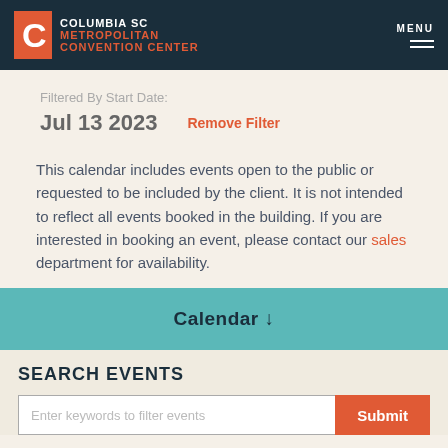COLUMBIA SC METROPOLITAN CONVENTION CENTER — MENU
Filtered By Start Date:
Jul 13 2023
Remove Filter
This calendar includes events open to the public or requested to be included by the client. It is not intended to reflect all events booked in the building. If you are interested in booking an event, please contact our sales department for availability.
Calendar ↓
SEARCH EVENTS
Enter keywords to filter events
Submit